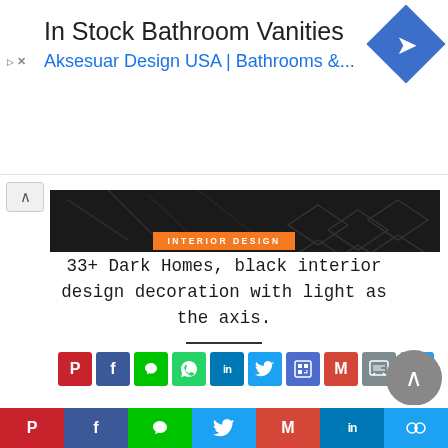[Figure (infographic): Advertisement banner for In Stock Bathroom Vanities - Aksesuar Design USA with blue navigation arrow icon]
[Figure (photo): Dark bedroom interior with black bedding, pillows, and Life magazine logo overlay in bottom right corner]
INTERIOR DESIGN
33+ Dark Homes, black interior design decoration with light as the axis.
[Figure (infographic): Social media sharing buttons row: Pinterest, Facebook, Line, WhatsApp, LinkedIn, Twitter, QR code, Gmail, chat, link]
Using light-based home decoration in your home,
Bottom social bar with Pinterest, Facebook, Line, Twitter, Gmail, LinkedIn, link sharing buttons